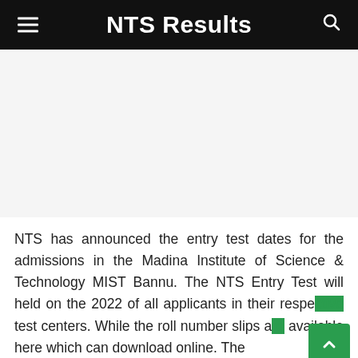NTS Results
[Figure (other): Advertisement / blank white area placeholder]
NTS has announced the entry test dates for the admissions in the Madina Institute of Science & Technology MIST Bannu. The NTS Entry Test will held on the 2022 of all applicants in their respective test centers. While the roll number slips are available here which can download online. The